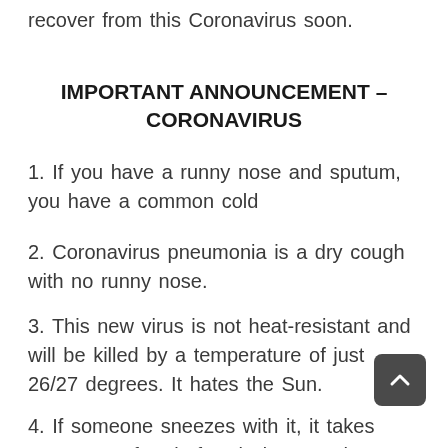…take care of everyone and may the world recover from this Coronavirus soon.
IMPORTANT ANNOUNCEMENT – CORONAVIRUS
1. If you have a runny nose and sputum, you have a common cold
2. Coronavirus pneumonia is a dry cough with no runny nose.
3. This new virus is not heat-resistant and will be killed by a temperature of just 26/27 degrees. It hates the Sun.
4. If someone sneezes with it, it takes about 10 feet before it drops to the ground and is no